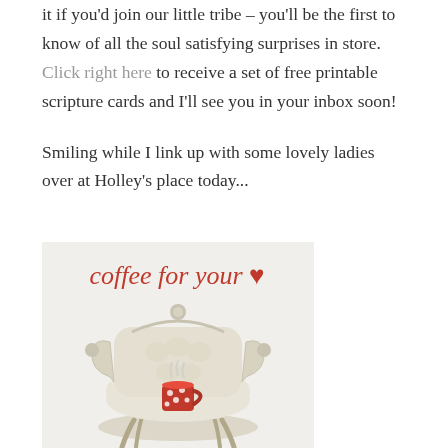it if you'd join our little tribe – you'll be the first to know of all the soul satisfying surprises in store. Click right here to receive a set of free printable scripture cards and I'll see you in your inbox soon!
Smiling while I link up with some lovely ladies over at Holley's place today...
[Figure (illustration): Coffee for your heart banner image showing an ornate white tufted armchair with a red polka-dot coffee mug, with text 'coffee for your ♥' in red script above]